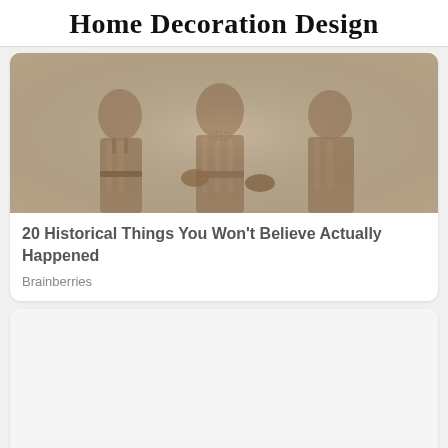Home Decoration Design
[Figure (photo): Sepia-toned historical photo of three women in vintage clothing, closely grouped together]
20 Historical Things You Won't Believe Actually Happened
Brainberries
[Figure (photo): Large mostly blank/white image placeholder for second article]
Discover The Levels Of Traditional Tibetan Healing Science
Healthnat...